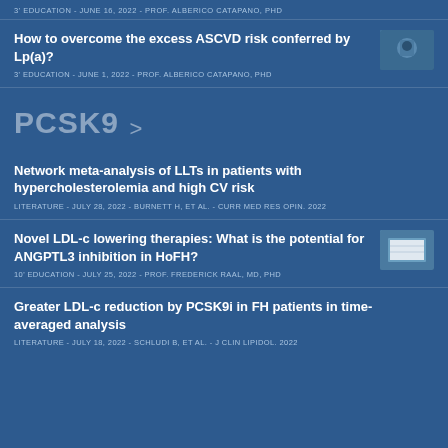3' EDUCATION - JUNE 16, 2022 - PROF. ALBERICO CATAPANO, PHD
How to overcome the excess ASCVD risk conferred by Lp(a)?
3' EDUCATION - JUNE 1, 2022 - PROF. ALBERICO CATAPANO, PHD
PCSK9
Network meta-analysis of LLTs in patients with hypercholesterolemia and high CV risk
LITERATURE - JULY 28, 2022 - BURNETT H, ET AL. - CURR MED RES OPIN. 2022
Novel LDL-c lowering therapies: What is the potential for ANGPTL3 inhibition in HoFH?
10' EDUCATION - JULY 25, 2022 - PROF. FREDERICK RAAL, MD, PHD
Greater LDL-c reduction by PCSK9i in FH patients in time-averaged analysis
LITERATURE - JULY 18, 2022 - SCHLUDI B, ET AL. - J CLIN LIPIDOL. 2022